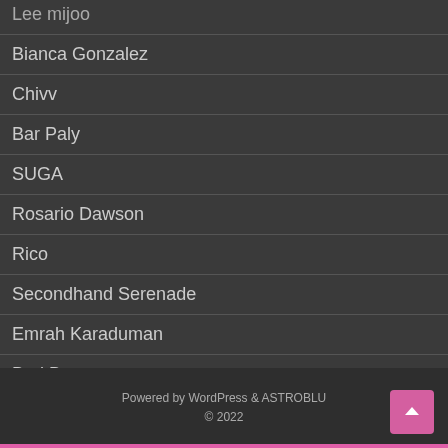Lee mijoo
Bianca Gonzalez
Chivv
Bar Paly
SUGA
Rosario Dawson
Rico
Secondhand Serenade
Emrah Karaduman
Bad Bunny
Clark Gable
Jaonaay
Powered by WordPress & ASTROBLU
© 2022